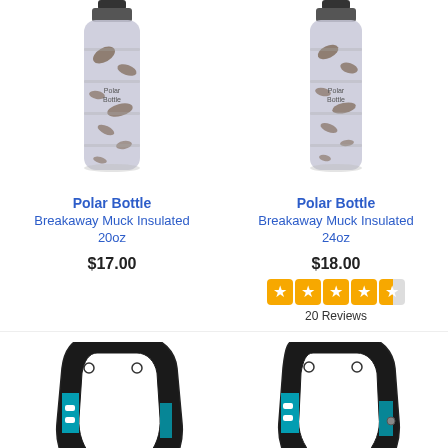[Figure (photo): Polar Bottle Breakaway Muck Insulated 20oz water bottle with dark camo/muck pattern]
Polar Bottle
Breakaway Muck Insulated
20oz
$17.00
[Figure (photo): Polar Bottle Breakaway Muck Insulated 24oz water bottle with dark camo/muck pattern]
Polar Bottle
Breakaway Muck Insulated
24oz
$18.00
[Figure (other): Star rating: 4.5 out of 5 stars, 20 Reviews]
[Figure (photo): Black and teal bicycle bottle cage, left product]
[Figure (photo): Black and teal bicycle bottle cage, right product]